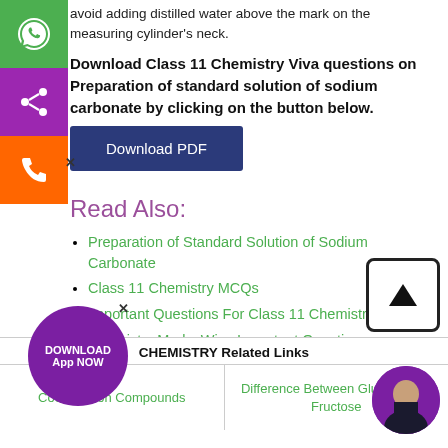avoid adding distilled water above the mark on the measuring cylinder's neck.
Download Class 11 Chemistry Viva questions on Preparation of standard solution of sodium carbonate by clicking on the button below.
Download PDF
Read Also:
Preparation of Standard Solution of Sodium Carbonate
Class 11 Chemistry MCQs
Important Questions For Class 11 Chemistry
Chemistry Marks Wise Important Questions
| CHEMISTRY Related Links |  |
| --- | --- |
| Coordination Compounds | Difference Between Glucose And Fructose |